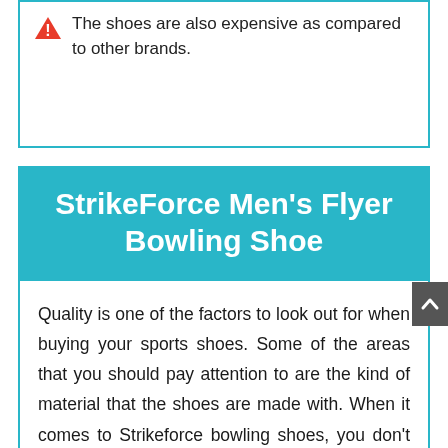The shoes are also expensive as compared to other brands.
StrikeForce Men's Flyer Bowling Shoe
Quality is one of the factors to look out for when buying your sports shoes. Some of the areas that you should pay attention to are the kind of material that the shoes are made with. When it comes to Strikeforce bowling shoes, you don't have to worry since the shoes are made of synthetic material which is strong. Also, the upper part of